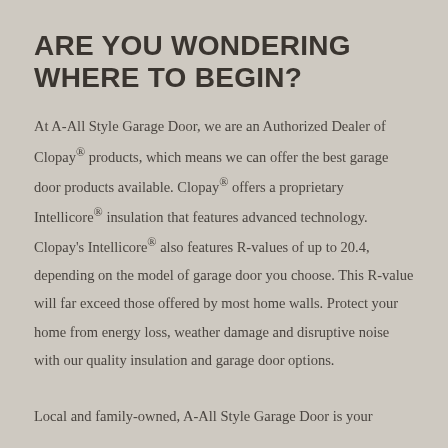ARE YOU WONDERING WHERE TO BEGIN?
At A-All Style Garage Door, we are an Authorized Dealer of Clopay® products, which means we can offer the best garage door products available. Clopay® offers a proprietary Intellicore® insulation that features advanced technology. Clopay's Intellicore® also features R-values of up to 20.4, depending on the model of garage door you choose. This R-value will far exceed those offered by most home walls. Protect your home from energy loss, weather damage and disruptive noise with our quality insulation and garage door options.

Local and family-owned, A-All Style Garage Door is your